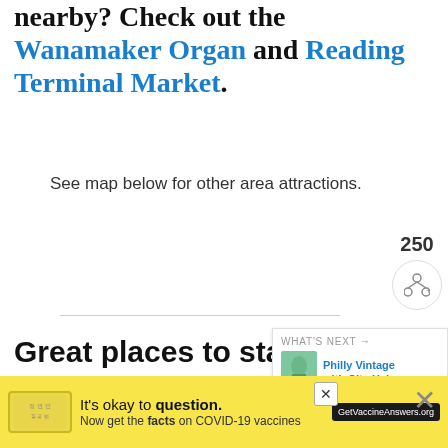nearby? Check out the Wanamaker Organ and Reading Terminal Market.
See map below for other area attractions.
[Figure (infographic): Social share buttons row: Facebook, Twitter, Pinterest, Flipboard, Email. Share count: 247 SHARES. Heart/like button with teal circle showing 250 count and share icon.]
Great places to stay in Phi...
Loews Philadelphia Hotel - A
[Figure (infographic): WHAT'S NEXT panel with thumbnail: Philly Vintage with City Hal...]
[Figure (infographic): Ad banner: It's okay to question. Now get the facts on COVID-19 vaccines. GetVaccineAnswers.org]